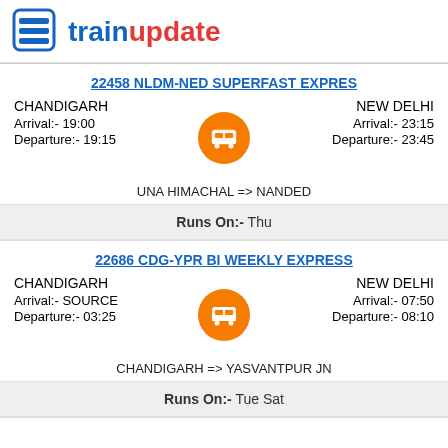trainupdate
22458 NLDM-NED SUPERFAST EXPRES
CHANDIGARH | Arrival:- 19:00 | Departure:- 19:15
NEW DELHI | Arrival:- 23:15 | Departure:- 23:45
UNA HIMACHAL => NANDED
Runs On:- Thu
22686 CDG-YPR BI WEEKLY EXPRESS
CHANDIGARH | Arrival:- SOURCE | Departure:- 03:25
NEW DELHI | Arrival:- 07:50 | Departure:- 08:10
CHANDIGARH => YASVANTPUR JN
Runs On:- Tue Sat